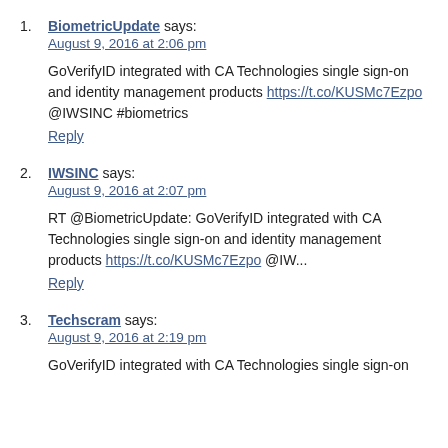1. BiometricUpdate says:
August 9, 2016 at 2:06 pm

GoVerifyID integrated with CA Technologies single sign-on and identity management products https://t.co/KUSMc7Ezpo @IWSINC #biometrics
Reply
2. IWSINC says:
August 9, 2016 at 2:07 pm

RT @BiometricUpdate: GoVerifyID integrated with CA Technologies single sign-on and identity management products https://t.co/KUSMc7Ezpo @IW...
Reply
3. Techscram says:
August 9, 2016 at 2:19 pm

GoVerifyID integrated with CA Technologies single sign-on